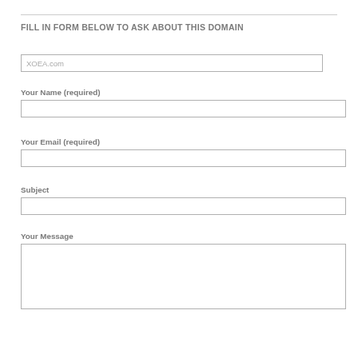FILL IN FORM BELOW TO ASK ABOUT THIS DOMAIN
XOEA.com
Your Name (required)
Your Email (required)
Subject
Your Message